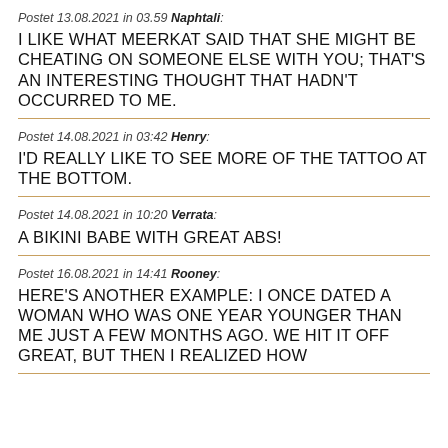Postet 13.08.2021 in 03:59 Naphtali:
I LIKE WHAT MEERKAT SAID THAT SHE MIGHT BE CHEATING ON SOMEONE ELSE WITH YOU; THAT'S AN INTERESTING THOUGHT THAT HADN'T OCCURRED TO ME.
Postet 14.08.2021 in 03:42 Henry:
I'D REALLY LIKE TO SEE MORE OF THE TATTOO AT THE BOTTOM.
Postet 14.08.2021 in 10:20 Verrata:
A BIKINI BABE WITH GREAT ABS!
Postet 16.08.2021 in 14:41 Rooney:
HERE'S ANOTHER EXAMPLE: I ONCE DATED A WOMAN WHO WAS ONE YEAR YOUNGER THAN ME JUST A FEW MONTHS AGO. WE HIT IT OFF GREAT, BUT THEN I REALIZED HOW